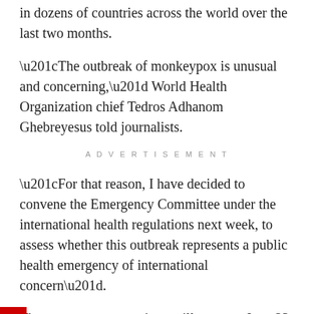in dozens of countries across the world over the last two months.
“The outbreak of monkeypox is unusual and concerning,” World Health Organization chief Tedros Adhanom Ghebreyesus told journalists.
ADVERTISEMENT
“For that reason, I have decided to convene the Emergency Committee under the international health regulations next week, to assess whether this outbreak represents a public health emergency of international concern”.
The emergency committee will meet on June 23 to discuss the designation, which is the highest alarm the UN agency can sound.